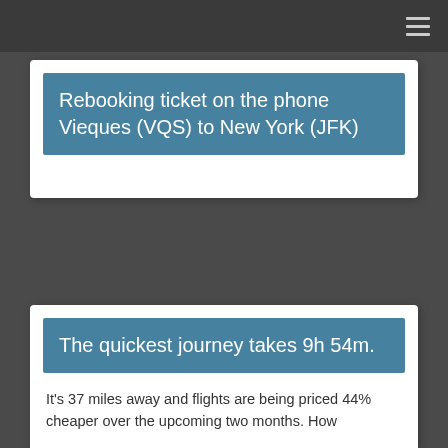≡
Rebooking ticket on the phone Vieques (VQS) to New York (JFK)
The quickest journey takes 9h 54m.
It's 37 miles away and flights are being priced 44% cheaper over the upcoming two months. How